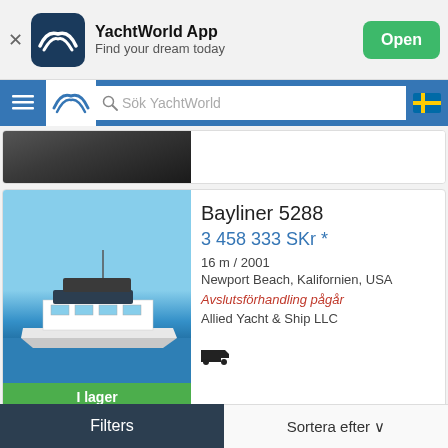[Figure (screenshot): YachtWorld app banner with logo, name, tagline, and Open button]
YachtWorld App
Find your dream today
Open
[Figure (screenshot): Navigation bar with hamburger menu, YachtWorld logo, search field 'Sök YachtWorld', and Swedish flag icon]
Sök YachtWorld
[Figure (photo): Partial top of a boat listing image in dark tones]
Bayliner 5288
3 458 333 SKr *
16 m / 2001
Newport Beach, Kalifornien, USA
Avslutsförhandling pågår
Allied Yacht & Ship LLC
I lager
Bayliner 4588
Filters
Sortera efter